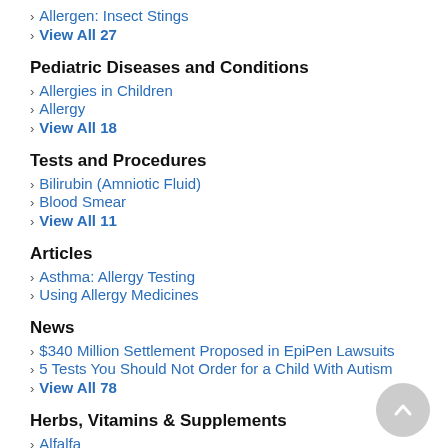Allergen: Insect Stings
View All 27
Pediatric Diseases and Conditions
Allergies in Children
Allergy
View All 18
Tests and Procedures
Bilirubin (Amniotic Fluid)
Blood Smear
View All 11
Articles
Asthma: Allergy Testing
Using Allergy Medicines
News
$340 Million Settlement Proposed in EpiPen Lawsuits
5 Tests You Should Not Order for a Child With Autism
View All 78
Herbs, Vitamins & Supplements
Alfalfa
Bee Pollen